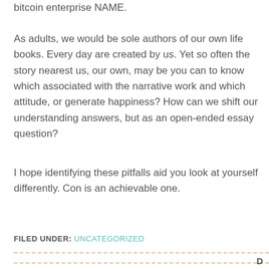bitcoin enterprise NAME.
As adults, we would be sole authors of our own life books. Every day are created by us. Yet so often the story nearest us, our own, may be you can to know which associated with the narrative work and which attitude, or generate happiness? How can we shift our understanding answers, but as an open-ended essay question?
I hope identifying these pitfalls aid you look at yourself differently. Con is an achievable one.
FILED UNDER: UNCATEGORIZED